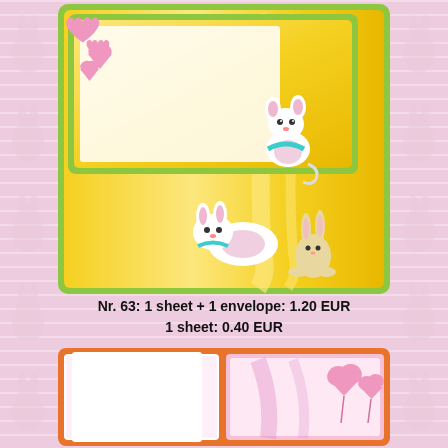[Figure (illustration): Diddlfriends branded stationery product showing a yellow-background notepad sheet with cartoon mouse/bunny characters and pink hearts, with green border. Top half shows small notepad with character, bottom half shows full sheet with two characters. 'diddlfriends' branding text appears vertically on right side.]
Nr. 63: 1 sheet + 1 envelope: 1.20 EUR
1 sheet: 0.40 EUR
[Figure (illustration): Diddlfriends stationery product showing envelope and notecard set with orange/red border, white and pink panels, with pink heart balloon decorations on the right panel.]